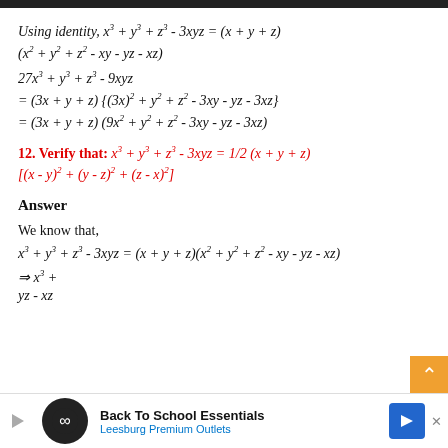Using identity, x³ + y³ + z³ - 3xyz = (x + y + z)
12. Verify that: x³ + y³ + z³ - 3xyz = 1/2(x + y + z)[(x - y)² + (y - z)² + (z - x)²]
Answer
We know that,